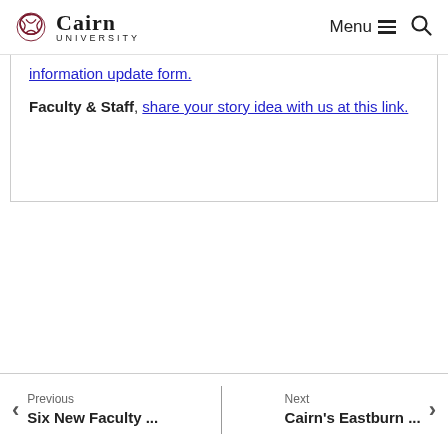Cairn University — Menu / Search
information update form.
Faculty & Staff, share your story idea with us at this link.
Previous
Six New Faculty ...
Next
Cairn's Eastburn ...